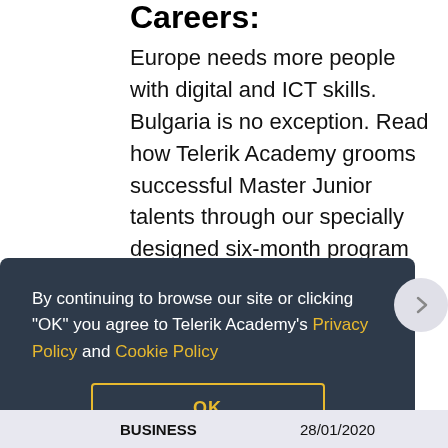Careers:
Europe needs more people with digital and ICT skills. Bulgaria is no exception. Read how Telerik Academy grooms successful Master Junior talents through our specially designed six-month program Alpha. Get inspired by the stories of Maria Dineva and Alex Parvanov, who decided to switch to software developers after working in a
By continuing to browse our site or clicking "OK" you agree to Telerik Academy's Privacy Policy and Cookie Policy
OK
| BUSINESS | 28/01/2020 |
| --- | --- |